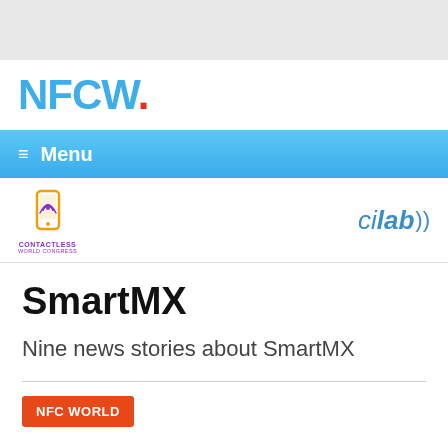[Figure (logo): NFCW. logo in blue with red dot]
≡ Menu
[Figure (logo): Contactless World Congress logo (left) and cilab logo (right)]
SmartMX
Nine news stories about SmartMX
NFC WORLD